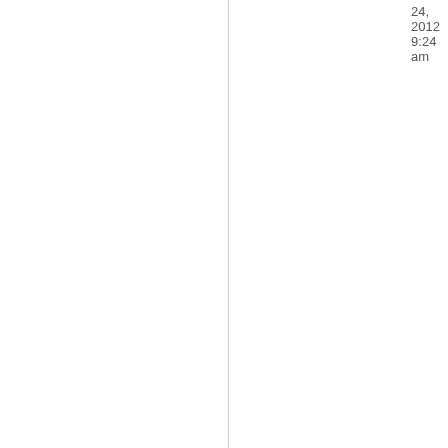Civil Servant
Posts: 8
Founded: Sep 26, 2012
Ex-Nation
24, 2012 9:24 am